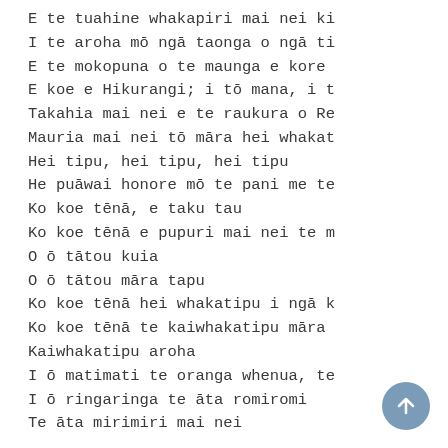E te tuahine whakapiri mai nei ki
I te aroha mō ngā taonga o ngā ti
E te mokopuna o te maunga e kore
E koe e Hikurangi; i tō mana, i t
Takahia mai nei e te raukura o Re
Mauria mai nei tō māra hei whakat
Hei tipu, hei tipu, hei tipu
He puāwai honore mō te pani me te
Ko koe tēnā, e taku tau
Ko koe tēnā e pupuri mai nei te m
O ō tātou kuia
O ō tātou māra tapu
Ko koe tēnā hei whakatipu i ngā k
Ko koe tēnā te kaiwhakatipu māra
Kaiwhakatipu aroha
I ō matimati te oranga whenua, te
I ō ringaringa te āta romiromi
Te āta mirimiri mai nei